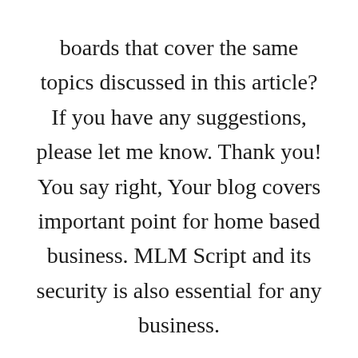boards that cover the same topics discussed in this article? If you have any suggestions, please let me know. Thank you! You say right, Your blog covers important point for home based business. MLM Script and its security is also essential for any business.

Your email address will not is zoominfo revenue accurate published. Save my name, email, and website in this browser for the next time I comment. Please contact the developer of this form processor to improve this